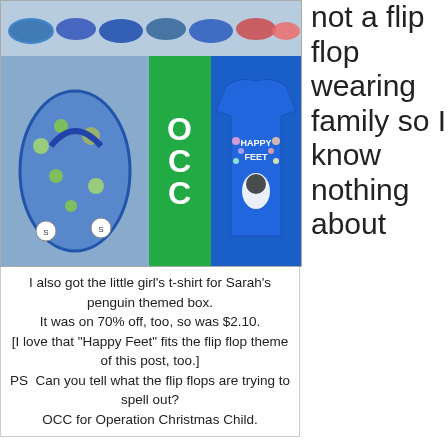[Figure (photo): Collage of images: top row of flip flops in various colors, bottom row showing blue patterned flip flops, green OCC sign letters, and a blue Happy Feet t-shirt]
I also got the little girl's t-shirt for Sarah's penguin themed box. It was on 70% off, too, so was $2.10.
[I love that "Happy Feet" fits the flip flop theme of this post, too.]
PS  Can you tell what the flip flops are trying to spell out?
OCC for Operation Christmas Child.
not a flip flop wearing family so I know nothing about the quality or how long they could be expected to last.  I try to put reasonable quality items in my shoeboxes and struggled about these $1 flip flops.  I finally decided that I could spend my $21 and shoe 70 children for, say at least a year, or spend that $21 on 4 to 5 pairs of more expensive flip flops and shoe those children for perhaps two to three years.  I figured I'd get 70 years out of my $21 instead of 8 to 15.  Once again, this quality verse